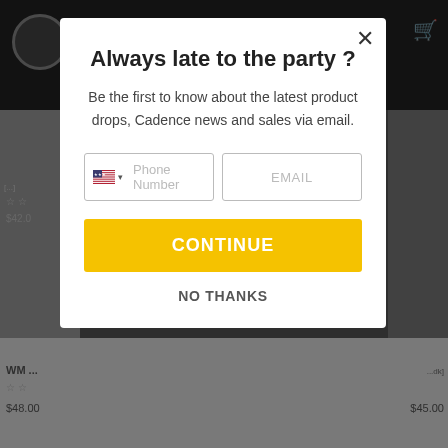[Figure (screenshot): E-commerce website background showing dark navigation bar with logo and cart icon, product images on left and right edges, and product labels/prices at bottom]
Always late to the party ?
Be the first to know about the latest product drops, Cadence news and sales via email.
Phone Number | EMAIL (form fields)
CONTINUE
NO THANKS